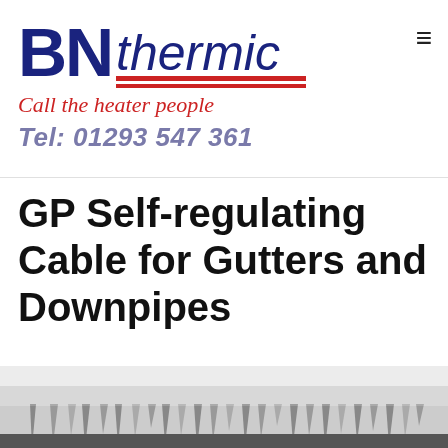[Figure (logo): BN Thermic company logo with bold blue BN, italic thermic text, red double underline, red italic tagline 'Call the heater people', and blue-grey italic phone number 'Tel: 01293 547 361']
GP Self-regulating Cable for Gutters and Downpipes
[Figure (photo): Black and white photograph of icicles hanging from a gutter or roof edge, with snow/ice buildup above]